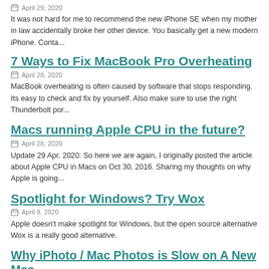April 29, 2020
It was not hard for me to recommend the new iPhone SE when my mother in law accidentally broke her other device. You basically get a new modern iPhone. Conta...
7 Ways to Fix MacBook Pro Overheating
April 28, 2020
MacBook overheating is often caused by software that stops responding. Its easy to check and fix by yourself. Also make sure to use the right Thunderbolt por...
Macs running Apple CPU in the future?
April 28, 2020
Update 29 Apr, 2020: So here we are again, I originally posted the article about Apple CPU in Macs on Oct 30, 2016. Sharing my thoughts on why Apple is going...
Spotlight for Windows? Try Wox
April 9, 2020
Apple doesn't make spotlight for Windows, but the open source alternative Wox is a really good alternative.
Why iPhoto / Mac Photos is Slow on A New Mac...